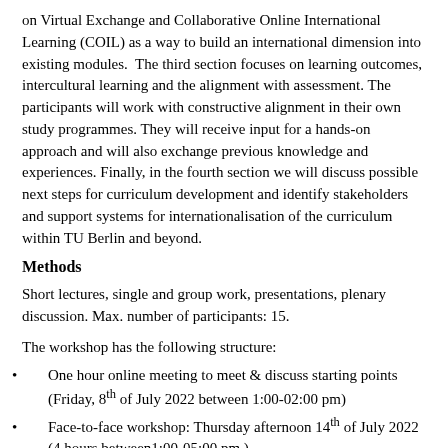on Virtual Exchange and Collaborative Online International Learning (COIL) as a way to build an international dimension into existing modules. The third section focuses on learning outcomes, intercultural learning and the alignment with assessment. The participants will work with constructive alignment in their own study programmes. They will receive input for a hands-on approach and will also exchange previous knowledge and experiences. Finally, in the fourth section we will discuss possible next steps for curriculum development and identify stakeholders and support systems for internationalisation of the curriculum within TU Berlin and beyond.
Methods
Short lectures, single and group work, presentations, plenary discussion. Max. number of participants: 15.
The workshop has the following structure:
One hour online meeting to meet & discuss starting points (Friday, 8th of July 2022 between 1:00-02:00 pm)
Face-to-face workshop: Thursday afternoon 14th of July 2022 (4 hours between1:00-05:00 pm )
Face-to-face workshop: Friday morning (4 hours between 09:00 a -01:00 pm)